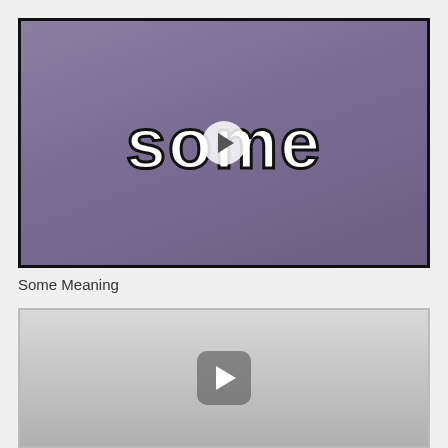[Figure (screenshot): Video thumbnail with purple background showing the word 'some' in large white text with dark outline, and a circular play button overlay on the letter 'm']
Some Meaning
[Figure (screenshot): Second video thumbnail with light gray background showing a rounded square play button icon in gray with a white play arrow]